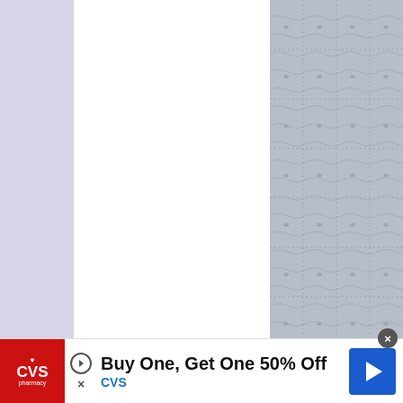[Figure (photo): Close-up photo of a knitted baby blanket in gray/blue yarn showing a lace or filet crochet pattern with open squares and textured stitches]
Posted by Gretchen Tracy at April 01, 2015
[Figure (other): Print Friendly button (green) and social share icons (Gmail, Blogger, Twitter, Facebook, Pinterest)]
Labels: baby blanket, chunky, kid...
74 comments:
[Figure (other): CVS Pharmacy advertisement banner: Buy One, Get One 50% Off with CVS logo and navigation arrow icon]